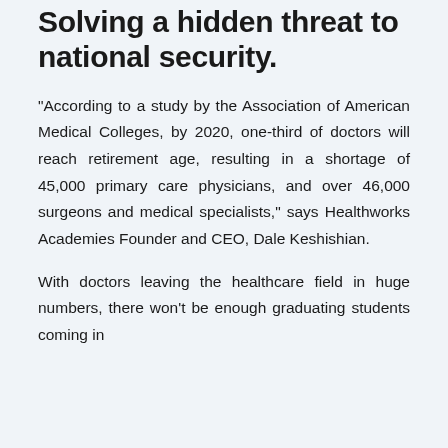Solving a hidden threat to national security.
"According to a study by the Association of American Medical Colleges, by 2020, one-third of doctors will reach retirement age, resulting in a shortage of 45,000 primary care physicians, and over 46,000 surgeons and medical specialists," says Healthworks Academies Founder and CEO, Dale Keshishian.
With doctors leaving the healthcare field in huge numbers, there won't be enough graduating students coming in